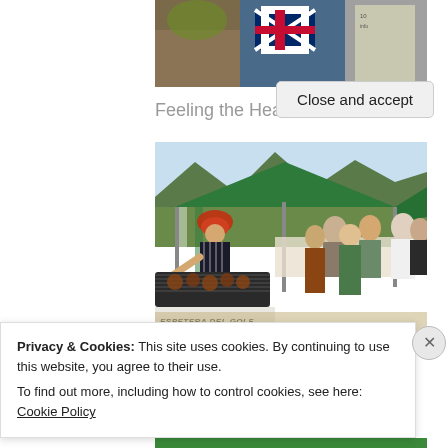[Figure (photo): Partial view of a collage photo showing food items, Union Jack flag, and outdoor event paraphernalia at the top of the page]
Feeling the Heat
[Figure (photo): Outdoor BBQ event photo showing a person in a red hat and apron grilling meat on a large BBQ grill labeled 'ESPETERA DEL GOLF', with a green tent canopy overhead, mountains in background, and groups of people around a table]
Privacy & Cookies: This site uses cookies. By continuing to use this website, you agree to their use.
To find out more, including how to control cookies, see here: Cookie Policy